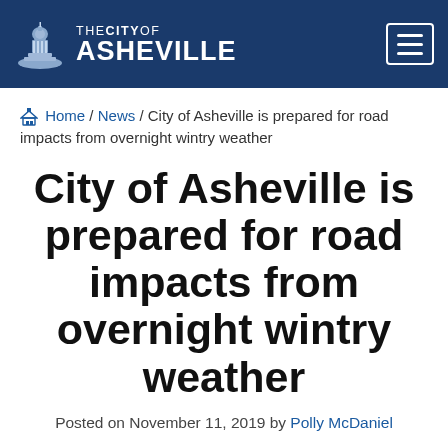THE CITY OF ASHEVILLE
Home / News / City of Asheville is prepared for road impacts from overnight wintry weather
City of Asheville is prepared for road impacts from overnight wintry weather
Posted on November 11, 2019 by Polly McDaniel